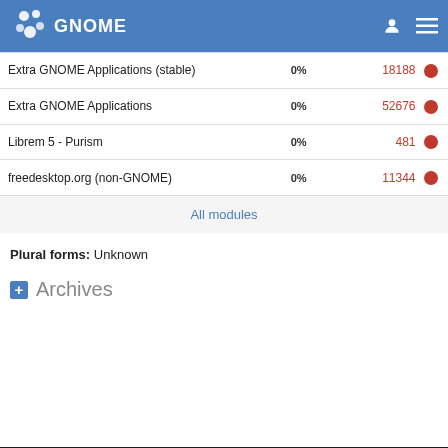GNOME
| Module | Percent | Count |  |
| --- | --- | --- | --- |
| Extra GNOME Applications (stable) | 0% | 18188 | ● |
| Extra GNOME Applications | 0% | 52676 | ● |
| Librem 5 - Purism | 0% | 481 | ● |
| freedesktop.org (non-GNOME) | 0% | 11344 | ● |
| All modules |  |  |  |
Plural forms: Unknown
Archives
The GNOME Project